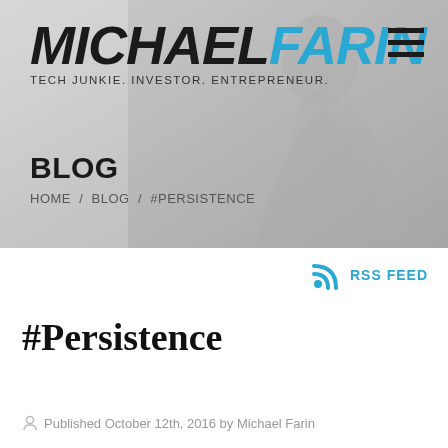[Figure (screenshot): Michael Farin blog website header banner with logo, tagline, and silhouette background]
BLOG
HOME / BLOG / #PERSISTENCE
RSS FEED
#Persistence
Published October 12th, 2016 by Michael Farin